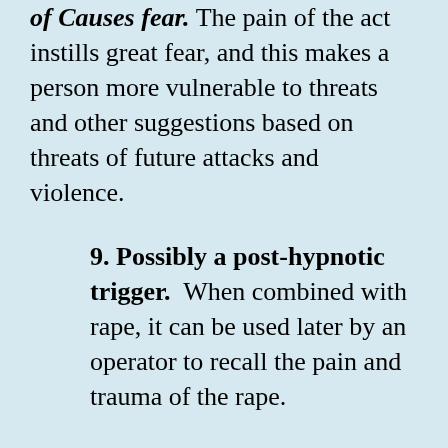of Causes fear. The pain of the act instills great fear, and this makes a person more vulnerable to threats and other suggestions based on threats of future attacks and violence.
9. Possibly a post-hypnotic trigger. When combined with rape, it can be used later by an operator to recall the pain and trauma of the rape.
10. Emotional damage. It often contributes to depression